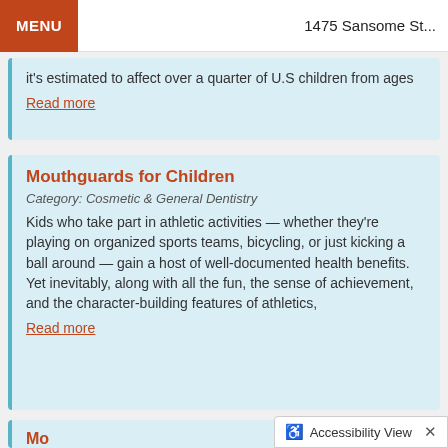MENU   1475 Sansome St...
it's estimated to affect over a quarter of U.S children from ages
Read more
Mouthguards for Children
Category: Cosmetic & General Dentistry
Kids who take part in athletic activities — whether they're playing on organized sports teams, bicycling, or just kicking a ball around — gain a host of well-documented health benefits. Yet inevitably, along with all the fun, the sense of achievement, and the character-building features of athletics,
Read more